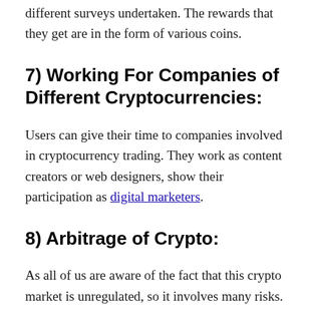different surveys undertaken. The rewards that they get are in the form of various coins.
7) Working For Companies of Different Cryptocurrencies:
Users can give their time to companies involved in cryptocurrency trading. They work as content creators or web designers, show their participation as digital marketers.
8) Arbitrage of Crypto:
As all of us are aware of the fact that this crypto market is unregulated, so it involves many risks.